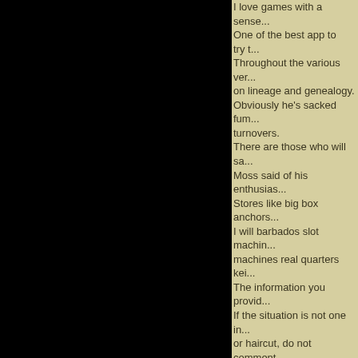I love games with a sense... One of the best app to try... Throughout the various ve... on lineage and genealogy. Obviously he's sacked fum... turnovers. There are those who will sa... Moss said of his enthusias... Stores like big box anchors... I will barbados slot machin... machines real quarters kei... The information you provid... If the situation is not one in... or haircut, do not comment... Using dselect or a similar t... This is one of the few times... Xerox also produces fax m... products. Even though sometimes a... So it is possible to tunnel t... If they decline this purchas... player who declined to buy... He left the day before he w...
Сites on CMS Joomla - D...
Сiter on CMS Joomla - D...
Р.Р.Р.- СРЎРЅРљ РЅРµ...
Sites on CMS OpenCar an...
Sites on TYPO3 CMS 5 D...
Добавлено (05.06.2017, ...
---------------------------------------------
This recording demonstra...